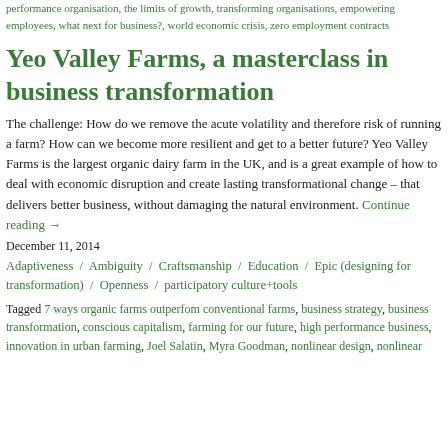performance organisation, the limits of growth, transforming organisations, empowering employees, what next for business?, world economic crisis, zero employment contracts
Yeo Valley Farms, a masterclass in business transformation
The challenge: How do we remove the acute volatility and therefore risk of running a farm? How can we become more resilient and get to a better future? Yeo Valley Farms is the largest organic dairy farm in the UK, and is a great example of how to deal with economic disruption and create lasting transformational change – that delivers better business, without damaging the natural environment. Continue reading →
December 11, 2014
Adaptiveness / Ambiguity / Craftsmanship / Education / Epic (designing for transformation) / Openness / participatory culture+tools
Tagged 7 ways organic farms outperfom conventional farms, business strategy, business transformation, conscious capitalism, farming for our future, high performance business, innovation in urban farming, Joel Salatin, Myra Goodman, nonlinear design, nonlinear innovation, next for business, blockchain, transformation, performance, health and